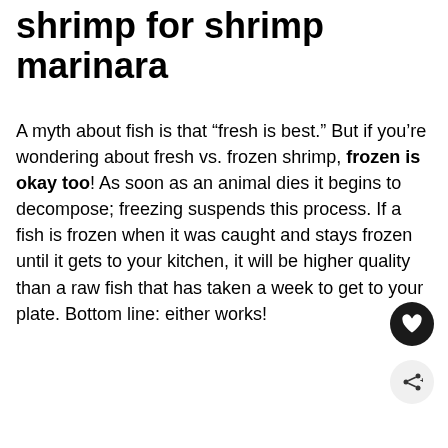shrimp for shrimp marinara
A myth about fish is that “fresh is best.” But if you’re wondering about fresh vs. frozen shrimp, frozen is okay too! As soon as an animal dies it begins to decompose; freezing suspends this process. If a fish is frozen when it was caught and stays frozen until it gets to your kitchen, it will be higher quality than a raw fish that has taken a week to get to your plate. Bottom line: either works!